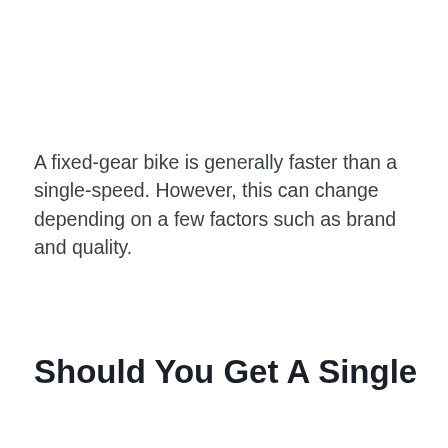A fixed-gear bike is generally faster than a single-speed. However, this can change depending on a few factors such as brand and quality.
Should You Get A Single